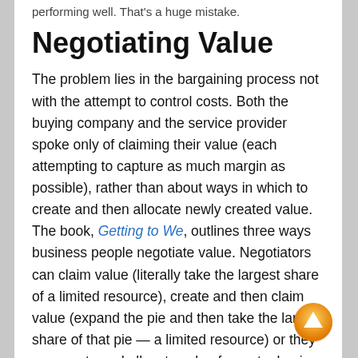performing well. That's a huge mistake.
Negotiating Value
The problem lies in the bargaining process not with the attempt to control costs. Both the buying company and the service provider spoke only of claiming their value (each attempting to capture as much margin as possible), rather than about ways in which to create and then allocate newly created value. The book, Getting to We, outlines three ways business people negotiate value. Negotiators can claim value (literally take the largest share of a limited resource), create and then claim value (expand the pie and then take the largest share of that pie — a limited resource) or they can create and allocate value for mutual gain.